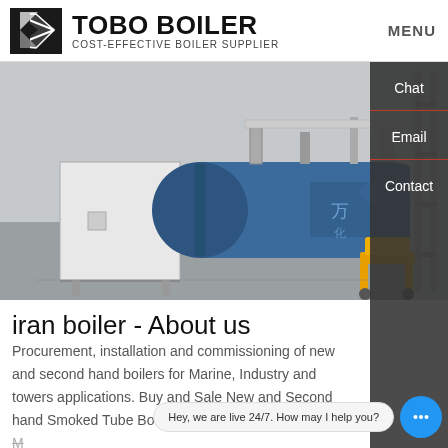TOBO BOILER COST-EFFECTIVE BOILER SUPPLIER | MENU
[Figure (photo): Industrial boiler equipment — large blue cylindrical fire-tube boiler with white control cabinet, piping and yellow pallet jack in a factory setting]
iran boiler - About us
Procurement, installation and commissioning of new and second hand boilers for Marine, Industry and towers applications. Buy and Sale New and Second hand Smoked Tube Boilers, Design and Construction of Boilers on Truck, iran boiler Business type : Manufacturers
Hey, we are live 24/7. How may I help you?